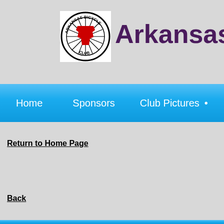[Figure (logo): Arkansas Bicycle Club circular logo with red Arkansas state shape and bicycle wheel spokes]
Arkansas
[Figure (screenshot): Navigation bar with Home, Sponsors, Club Pictures and a bullet navigation items on blue background]
Return to Home Page
Back